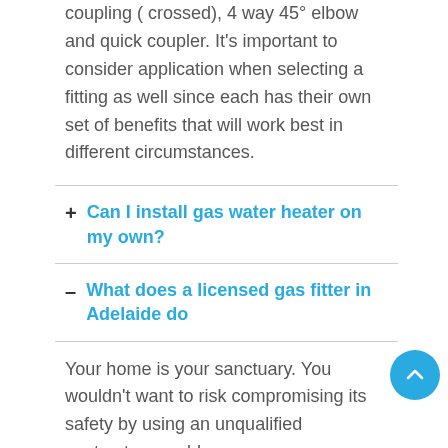coupling ( crossed), 4 way 45° elbow and quick coupler. It's important to consider application when selecting a fitting as well since each has their own set of benefits that will work best in different circumstances.
+ Can I install gas water heater on my own?
– What does a licensed gas fitter in Adelaide do
Your home is your sanctuary. You wouldn't want to risk compromising its safety by using an unqualified contractor, would